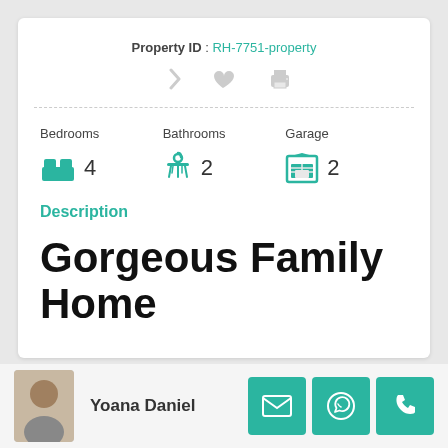Property ID : RH-7751-property
Bedrooms   Bathrooms   Garage
4   2   2
Description
Gorgeous Family Home
Yoana Daniel